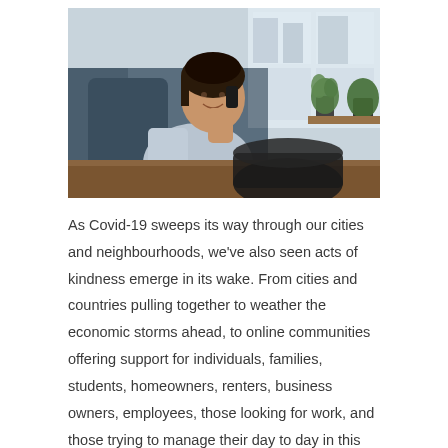[Figure (photo): A woman smiling and talking on a mobile phone while seated at a desk in an office setting. Behind her is a large window with city buildings visible. Plants and a vase are on a wooden shelf near the window. A large dark cup or vessel is in the foreground on the desk, out of focus.]
As Covid-19 sweeps its way through our cities and neighbourhoods, we've also seen acts of kindness emerge in its wake. From cities and countries pulling together to weather the economic storms ahead, to online communities offering support for individuals, families, students, homeowners, renters, business owners, employees, those looking for work, and those trying to manage their day to day in this